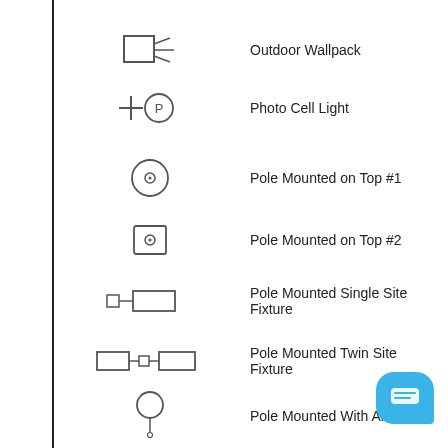[Figure (schematic): Electrical/lighting legend symbols with labels. Symbols include: Outdoor Wallpack, Photo Cell Light, Pole Mounted on Top #1, Pole Mounted on Top #2, Pole Mounted Single Site Fixture, Pole Mounted Twin Site Fixture, Pole Mounted With Arm #1, Pole Mounted With Arm #2, Recessed Emergency Fixture.]